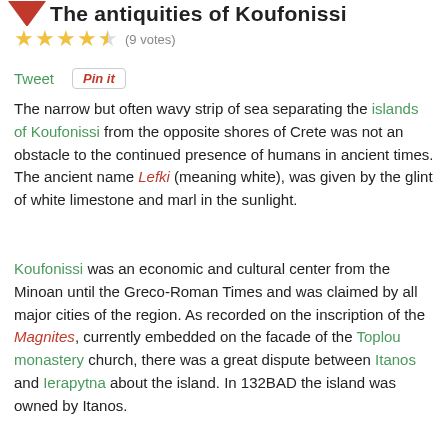The antiquities of Koufonissi
★★★★☆ (9 votes)
Tweet  Pin it
The narrow but often wavy strip of sea separating the islands of Koufonissi from the opposite shores of Crete was not an obstacle to the continued presence of humans in ancient times. The ancient name Lefki (meaning white), was given by the glint of white limestone and marl in the sunlight.
Koufonissi was an economic and cultural center from the Minoan until the Greco-Roman Times and was claimed by all major cities of the region. As recorded on the inscription of the Magnites, currently embedded on the facade of the Toplou monastery church, there was a great dispute between Itanos and Ierapytna about the island. In 132BAD the island was owned by Itanos.